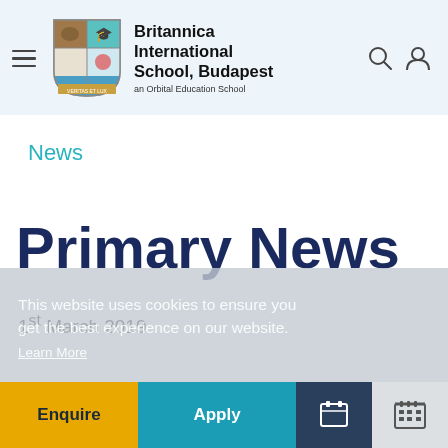Britannica International School, Budapest — an Orbital Education School
News
Primary News
1st March 2019
This website uses cookies to ensure you get the best experience on our website.
Learn More
Got it!
Enquire | Apply